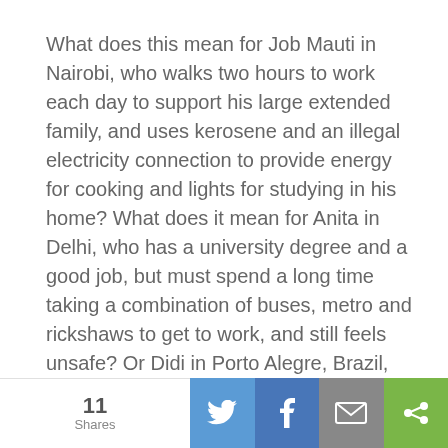What does this mean for Job Mauti in Nairobi, who walks two hours to work each day to support his large extended family, and uses kerosene and an illegal electricity connection to provide energy for cooking and lights for studying in his home? What does it mean for Anita in Delhi, who has a university degree and a good job, but must spend a long time taking a combination of buses, metro and rickshaws to get to work, and still feels unsafe? Or Didi in Porto Alegre, Brazil, whose family has a house with access to services, but in an area where crime is a constant threat?

For these three city-dwellers and millions more like them, the lack of access to core services can mean they are forced to fend for themselves in inefficient and costly
[Figure (infographic): Social share bar at the bottom showing 11 Shares count, Twitter button (blue), Facebook button (blue), Email button (grey), Share button (green)]